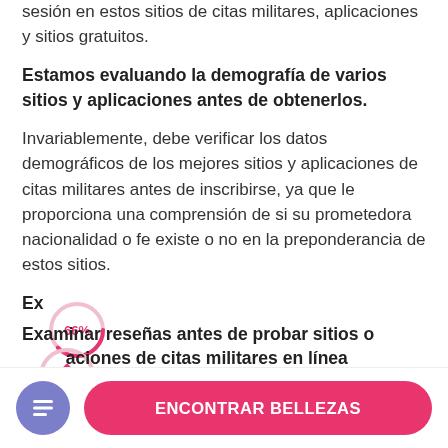sesión en estos sitios de citas militares, aplicaciones y sitios gratuitos.
Estamos evaluando la demografía de varios sitios y aplicaciones antes de obtenerlos.
Invariablemente, debe verificar los datos demográficos de los mejores sitios y aplicaciones de citas militares antes de inscribirse, ya que le proporciona una comprensión de si su prometedora nacionalidad o fe existe o no en la preponderancia de estos sitios.
Examinar reseñas antes de probar sitios o aplicaciones de citas militares en línea
[Figure (infographic): Circular progress indicator showing 66% in pink/red color]
Es invariablemente amigable intentar y luego creer.
[Figure (infographic): Bottom navigation bar with purple icon button and pink CTA button labeled ENCONTRAR BELLEZAS]